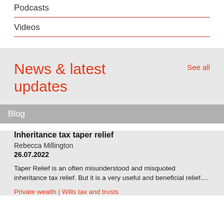Podcasts
Videos
News & latest updates
See all
Blog
Inheritance tax taper relief
Rebecca Millington
26.07.2022
Taper Relief is an often misunderstood and misquoted inheritance tax relief. But it is a very useful and beneficial relief....
Private wealth | Wills tax and trusts